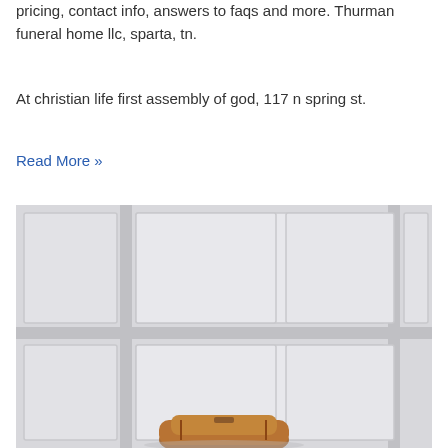pricing, contact info, answers to faqs and more. Thurman funeral home llc, sparta, tn.
At christian life first assembly of god, 117 n spring st.
Read More »
[Figure (photo): Photo of a person seated against a white paneled wall background, with a brown leather bag or item visible at the bottom. The wall has a grid of white rectangular raised panels.]